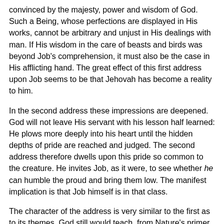convinced by the majesty, power and wisdom of God. Such a Being, whose perfections are displayed in His works, cannot be arbitrary and unjust in His dealings with man. If His wisdom in the care of beasts and birds was beyond Job's comprehension, it must also be the case in His afflicting hand. The great effect of this first address upon Job seems to be that Jehovah has become a reality to him.
In the second address these impressions are deepened. God will not leave His servant with his lesson half learned: He plows more deeply into his heart until the hidden depths of pride are reached and judged. The second address therefore dwells upon this pride so common to the creature. He invites Job, as it were, to see whether he can humble the proud and bring them low. The manifest implication is that Job himself is in that class.
The character of the address is very similar to the first as to its themes. God still would teach, from Nature's primer, the profoundest lessons of His ways. Thus we have in behemoth and leviathan, creatures like the aurochs or the horse, of immense strength and courage, the creatures of God, and preserved by Him. But there is a manifest typical and moral meaning connected with these creatures, which in that respect goes beyond the others. There the lesson was